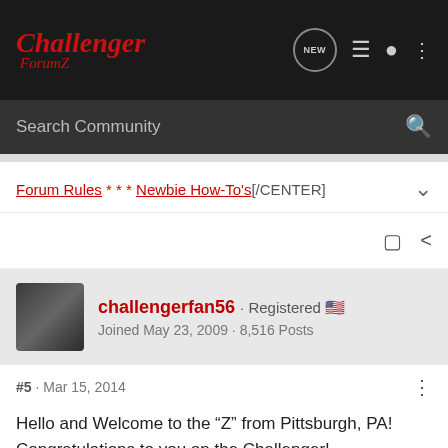Challenger ForumZ
Search Community
Forum Rules * * * Newbie How-To's[/CENTER]
challengerfan56 · Registered
Joined May 23, 2009 · 8,516 Posts
#5 · Mar 15, 2014
Hello and Welcome to the “Z” from Pittsburgh, PA! Congratulations to you on the Challenger!